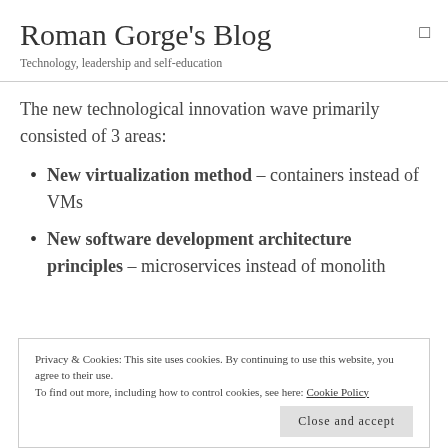Roman Gorge's Blog
Technology, leadership and self-education
The new technological innovation wave primarily consisted of 3 areas:
New virtualization method – containers instead of VMs
New software development architecture principles – microservices instead of monolith
Privacy & Cookies: This site uses cookies. By continuing to use this website, you agree to their use.
To find out more, including how to control cookies, see here: Cookie Policy